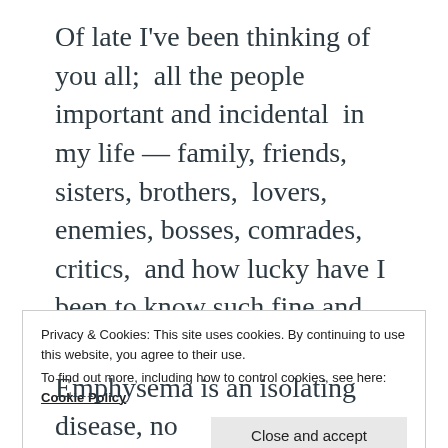Of late I've been thinking of you all;  all the people important and incidental  in my life — family, friends, sisters, brothers,  lovers, enemies, bosses, comrades, critics,  and how lucky have I been to know such fine and varied souls.  And R souls too.  A few online friendships have been deep too. But family has come back vividly and we have such a big mob of brothers and
Privacy & Cookies: This site uses cookies. By continuing to use this website, you agree to their use.
To find out more, including how to control cookies, see here: Cookie Policy
Close and accept
Emphysema is an isolating disease, no